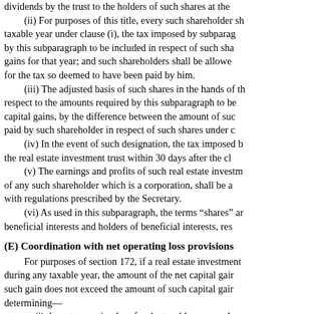dividends by the trust to the holders of such shares at the
(ii) For purposes of this title, every such shareholder sh taxable year under clause (i), the tax imposed by subparag by this subparagraph to be included in respect of such sha gains for that year; and such shareholders shall be allowe for the tax so deemed to have been paid by him.
(iii) The adjusted basis of such shares in the hands of th respect to the amounts required by this subparagraph to be capital gains, by the difference between the amount of suc paid by such shareholder in respect of such shares under c
(iv) In the event of such designation, the tax imposed b the real estate investment trust within 30 days after the cl
(v) The earnings and profits of such real estate investm of any such shareholder which is a corporation, shall be a with regulations prescribed by the Secretary.
(vi) As used in this subparagraph, the terms “shares” ar beneficial interests and holders of beneficial interests, res
(E) Coordination with net operating loss provisions
For purposes of section 172, if a real estate investment during any taxable year, the amount of the net capital gair such gain does not exceed the amount of such capital gair determining—
(i) the net operating loss for the taxable year, and
(ii) the amount of the net operating loss of any prior